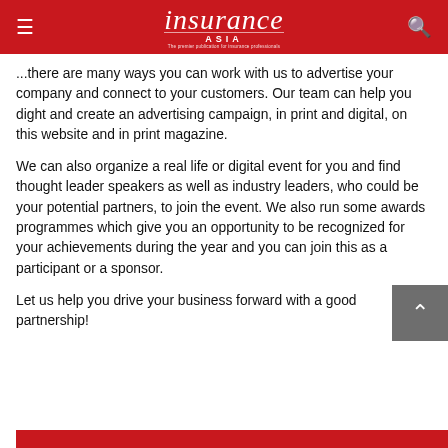insurance ASIA — The premier publication for insurance professionals
...there are many ways you can work with us to advertise your company and connect to your customers. Our team can help you dight and create an advertising campaign, in print and digital, on this website and in print magazine.
We can also organize a real life or digital event for you and find thought leader speakers as well as industry leaders, who could be your potential partners, to join the event. We also run some awards programmes which give you an opportunity to be recognized for your achievements during the year and you can join this as a participant or a sponsor.
Let us help you drive your business forward with a good partnership!